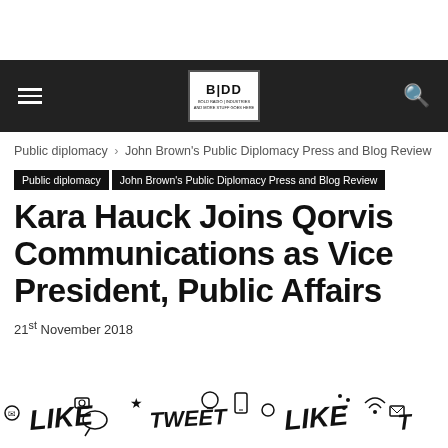BIDD — navigation bar with logo
Public diplomacy › John Brown's Public Diplomacy Press and Blog Review
Public diplomacy   John Brown's Public Diplomacy Press and Blog Review
Kara Hauck Joins Qorvis Communications as Vice President, Public Affairs
21st November 2018
[Figure (illustration): Doodle-style social media illustration showing words LIKE, TWEET and social media icons in a hand-drawn style]